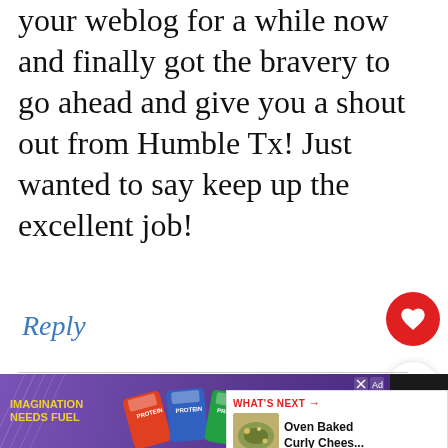your weblog for a while now and finally got the bravery to go ahead and give you a shout out from Humble Tx! Just wanted to say keep up the excellent job!
Reply
Barbara says
May 22, 2016 at 9:49 pm
[Figure (screenshot): Ad banner at bottom: purple background with popcorn/snack imagery, text 'IMAGINATION NEEDS FUEL', 'SHOP NOW' button, and close X button on dark background]
[Figure (infographic): WHAT'S NEXT panel with food image thumbnail and text 'Oven Baked Curly Chees...']